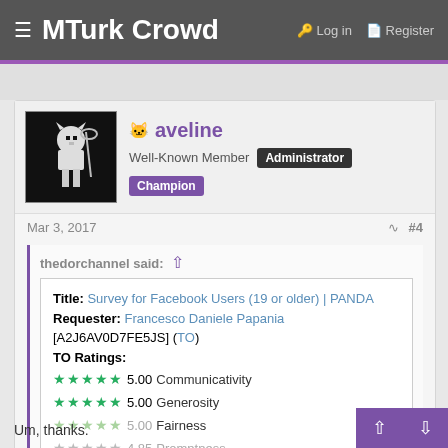≡ MTurk Crowd   🔑 Log in   🗒 Register
aveline
Well-Known Member  Administrator  Champion
Mar 3, 2017   #4
thedorchannel said: ↑
Title: Survey for Facebook Users (19 or older) | PANDA
Requester: Francesco Daniele Papania [A2J6AV0D7FE5JS] (TO)
TO Ratings:
★★★★★ 5.00 Communicativity
★★★★★ 5.00 Generosity
★★★★★ 5.00 Fairness
★★★☆☆ 4.85 Promptness
Click to expand...
Um, thanks.